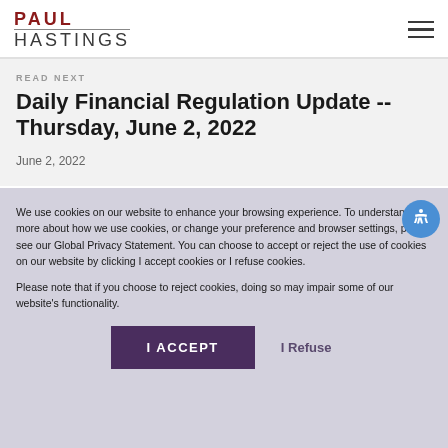PAUL HASTINGS
READ NEXT
Daily Financial Regulation Update -- Thursday, June 2, 2022
June 2, 2022
We use cookies on our website to enhance your browsing experience. To understand more about how we use cookies, or change your preference and browser settings, please see our Global Privacy Statement. You can choose to accept or reject the use of cookies on our website by clicking I accept cookies or I refuse cookies.
Please note that if you choose to reject cookies, doing so may impair some of our website's functionality.